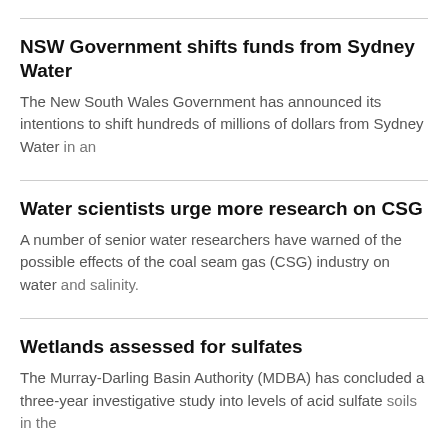NSW Government shifts funds from Sydney Water
The New South Wales Government has announced its intentions to shift hundreds of millions of dollars from Sydney Water in an
Water scientists urge more research on CSG
A number of senior water researchers have warned of the possible effects of the coal seam gas (CSG) industry on water and salinity.
Wetlands assessed for sulfates
The Murray-Darling Basin Authority (MDBA) has concluded a three-year investigative study into levels of acid sulfate soils in the
Victoria to construct first water neutral suburb